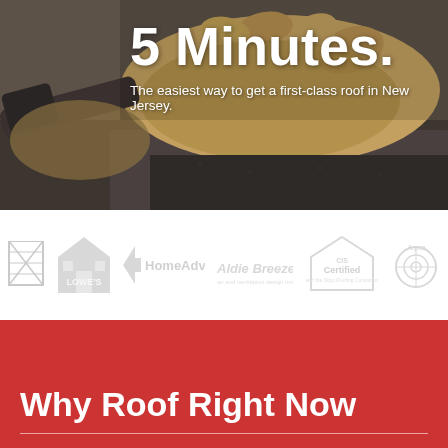[Figure (photo): Background photo of leather work gloves and a hammer resting on a dark asphalt/roofing surface, with warm tan/brown tones.]
5 Minutes.
The easiest way to get a first-class roof in New Jersey.
[Figure (logo): A row of partner/certification logos shown in grayscale: a grid/diamond logo, Lowe's, HomeAdvisor, Aldie Breeze, CIS Certified (with text 'and the Sligo Roofing Contractor'), and Aqua logo.]
Why Roof Right Now